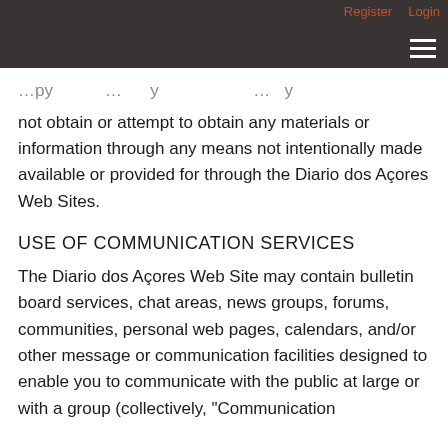Register  Login
…py … … … y …
not obtain or attempt to obtain any materials or information through any means not intentionally made available or provided for through the Diario dos Açores Web Sites.
USE OF COMMUNICATION SERVICES
The Diario dos Açores Web Site may contain bulletin board services, chat areas, news groups, forums, communities, personal web pages, calendars, and/or other message or communication facilities designed to enable you to communicate with the public at large or with a group (collectively, "Communication